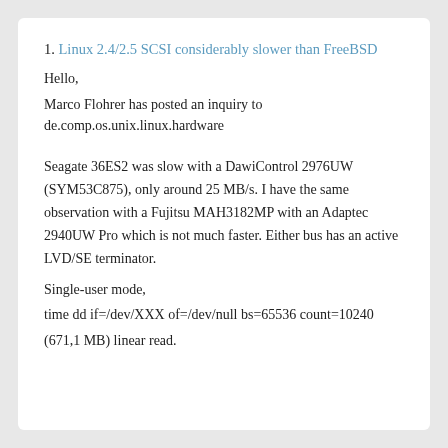1. Linux 2.4/2.5 SCSI considerably slower than FreeBSD
Hello,
Marco Flohrer has posted an inquiry to de.comp.os.unix.linux.hardware
Seagate 36ES2 was slow with a DawiControl 2976UW (SYM53C875), only around 25 MB/s. I have the same observation with a Fujitsu MAH3182MP with an Adaptec 2940UW Pro which is not much faster. Either bus has an active LVD/SE terminator.
Single-user mode,
time dd if=/dev/XXX of=/dev/null bs=65536 count=10240
(671,1 MB) linear read.